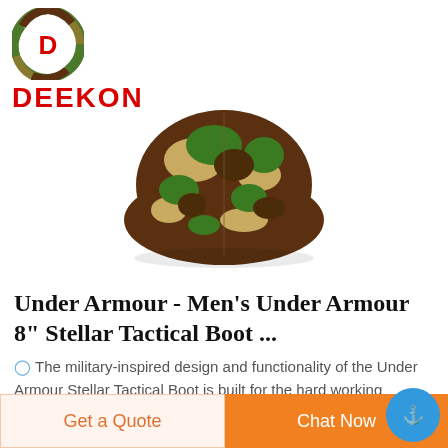[Figure (logo): DEEKON brand logo with circular camouflage-pattern icon containing a red D letter, and red bold text DEEKON below]
[Figure (photo): A camouflage military-style cap/hat viewed from the back, featuring green, brown, and tan camo pattern]
Under Armour - Men's Under Armour 8" Stellar Tactical Boot ...
The military-inspired design and functionality of the Under Armour Stellar Tactical Boot is built for the hard working individual seeking comfort and durability for the long hours. It has a water-resistant leather and
Get a Quote
Chat Now